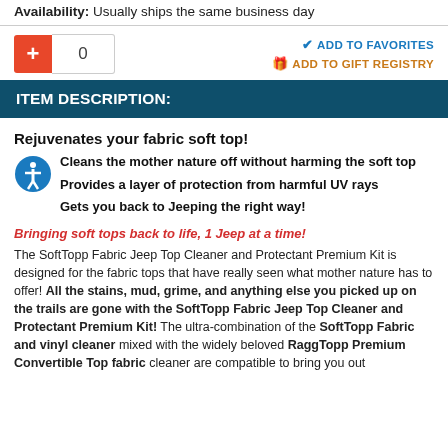Availability: Usually ships the same business day
0
ADD TO FAVORITES
ADD TO GIFT REGISTRY
ITEM DESCRIPTION:
Rejuvenates your fabric soft top!
Cleans the mother nature off without harming the soft top
Provides a layer of protection from harmful UV rays
Gets you back to Jeeping the right way!
Bringing soft tops back to life, 1 Jeep at a time!
The SoftTopp Fabric Jeep Top Cleaner and Protectant Premium Kit is designed for the fabric tops that have really seen what mother nature has to offer! All the stains, mud, grime, and anything else you picked up on the trails are gone with the SoftTopp Fabric Jeep Top Cleaner and Protectant Premium Kit! The ultra-combination of the SoftTopp Fabric and vinyl cleaner mixed with the widely beloved RaggTopp Premium Convertible Top fabric cleaner are compatible to bring you out